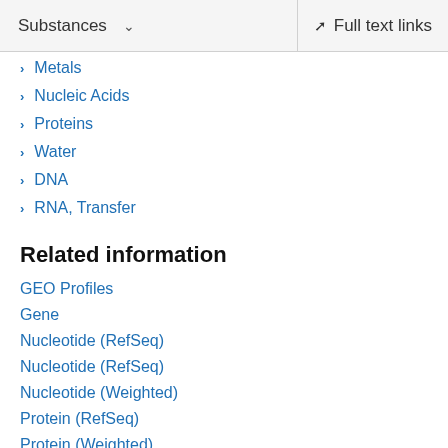Substances | Full text links
Metals
Nucleic Acids
Proteins
Water
DNA
RNA, Transfer
Related information
GEO Profiles
Gene
Nucleotide (RefSeq)
Nucleotide (RefSeq)
Nucleotide (Weighted)
Protein (RefSeq)
Protein (Weighted)
PubChem Compound (MeSH Keyword)